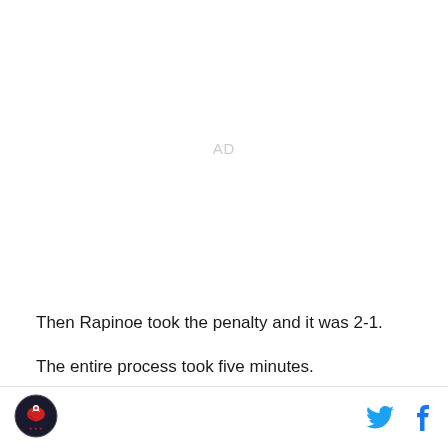[Figure (other): AD placeholder text in light gray]
Then Rapinoe took the penalty and it was 2-1.
The entire process took five minutes.
Logo and social media icons (Twitter, Facebook)